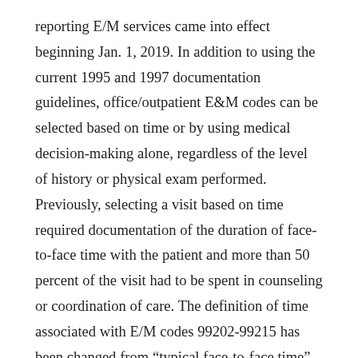reporting E/M services came into effect beginning Jan. 1, 2019. In addition to using the current 1995 and 1997 documentation guidelines, office/outpatient E&M codes can be selected based on time or by using medical decision-making alone, regardless of the level of history or physical exam performed. Previously, selecting a visit based on time required documentation of the duration of face-to-face time with the patient and more than 50 percent of the visit had to be spent in counseling or coordination of care. The definition of time associated with E/M codes 99202-99215 has been changed from “typical face-to-face time” to “total time spent on the day of the encounter.” Starting 2021, physicians will no longer need to establish how much time was devoted to counseling and coordinating on the day of the